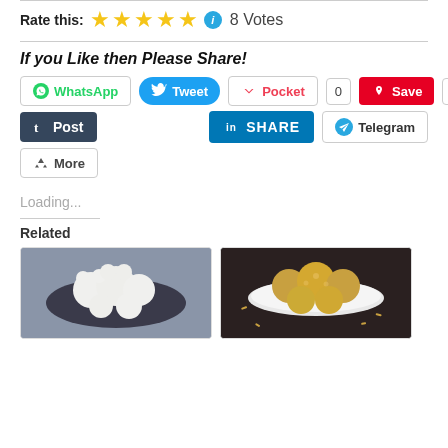Rate this: ★★★★★ ℹ 8 Votes
If you Like then Please Share!
WhatsApp  Tweet  Pocket 0  Save 94  Post  SHARE  Telegram  More
Loading...
Related
[Figure (photo): Food photo showing white animal-shaped rice balls on a dark plate]
[Figure (photo): Food photo showing golden crispy rice/puffed grain balls on a white plate on dark background]